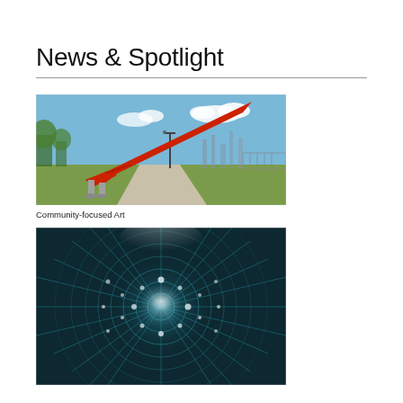News & Spotlight
[Figure (photo): Outdoor sculpture — a large red angular metal artwork resembling a bird or aircraft wing installed in a park with a concrete path, green grass, trees, and a blue sky with clouds.]
Community-focused Art
[Figure (photo): Close-up macro photograph of a teal/dark cyan circular circuit board or technical structure with radial lines and glowing white dots, giving a futuristic technology feel.]